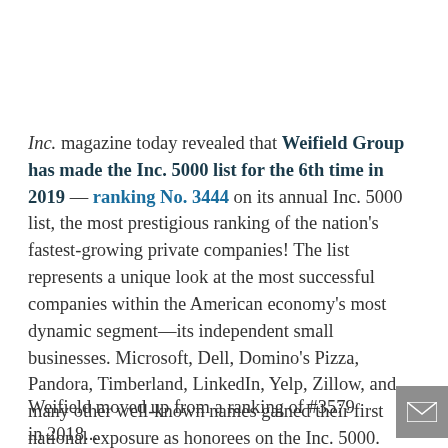Inc. magazine today revealed that Weifield Group has made the Inc. 5000 list for the 6th time in 2019 — ranking No. 3444 on its annual Inc. 5000 list, the most prestigious ranking of the nation's fastest-growing private companies! The list represents a unique look at the most successful companies within the American economy's most dynamic segment—its independent small businesses. Microsoft, Dell, Domino's Pizza, Pandora, Timberland, LinkedIn, Yelp, Zillow, and many other well-known names gained their first national exposure as honorees on the Inc. 5000.
Weifield moved up from a ranking of #3579 in 2018...